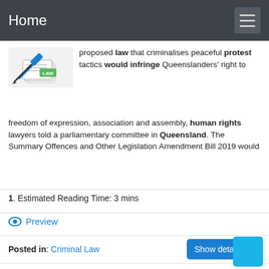Home
[Figure (illustration): Illustration of a gavel, papers and a label reading LAW]
proposed law that criminalises peaceful protest tactics would infringe Queenslanders' right to freedom of expression, association and assembly, human rights lawyers told a parliamentary committee in Queensland. The Summary Offences and Other Legislation Amendment Bill 2019 would
1. Estimated Reading Time: 3 mins
Preview
Posted in: Criminal Law
Show details